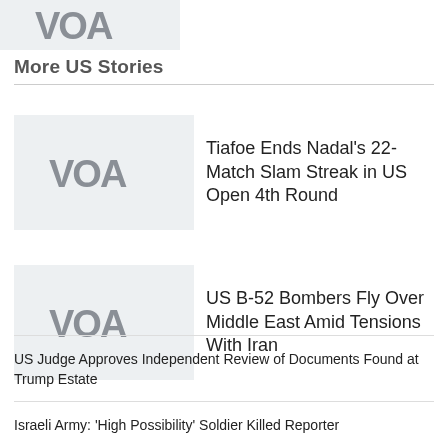[Figure (logo): VOA (Voice of America) logo in grey on light grey background, top of page]
More US Stories
[Figure (logo): VOA logo thumbnail for story 1]
Tiafoe Ends Nadal's 22-Match Slam Streak in US Open 4th Round
[Figure (logo): VOA logo thumbnail for story 2]
US B-52 Bombers Fly Over Middle East Amid Tensions With Iran
US Judge Approves Independent Review of Documents Found at Trump Estate
Israeli Army: 'High Possibility' Soldier Killed Reporter